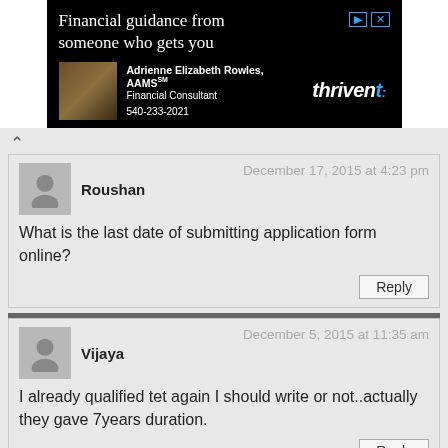[Figure (screenshot): Advertisement banner for Thrivent financial services featuring Adrienne Elizabeth Rowles, AAMS, Financial Consultant with phone number 540-233-2021]
Roushan
December 17, 2015 at 4:23 pm
What is the last date of submitting application form online?
Vijaya
December 5, 2015 at 11:35 am
I already qualified tet again I should write or not..actually they gave 7years duration.